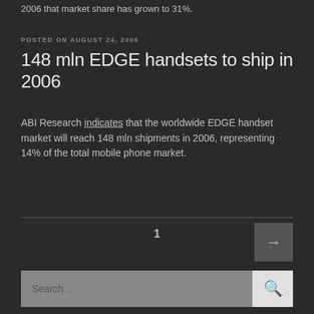2006 that market share has grown to 31%.
POSTED ON AUGUST 24, 2006
148 mln EDGE handsets to ship in 2006
ABI Research indicates that the worldwide EDGE handset market will reach 148 mln shipments in 2006, representing 14% of the total mobile phone market.
1
Search …